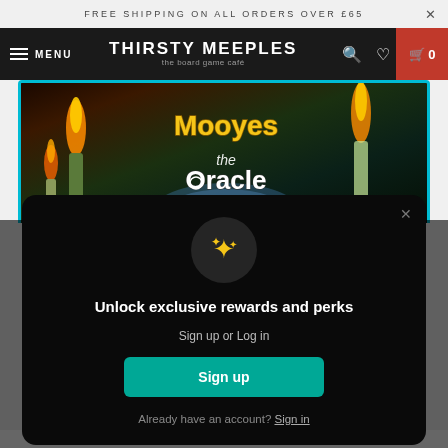FREE SHIPPING ON ALL ORDERS OVER £65
THIRSTY MEEPLES the board game café  MENU  0
[Figure (illustration): Board game product image for Mooye the Oracle showing fantasy art with golden title text, candles with flames, a crystal globe, and dark mystical background]
Unlock exclusive rewards and perks
Sign up or Log in
Sign up
Already have an account? Sign in
£21.00